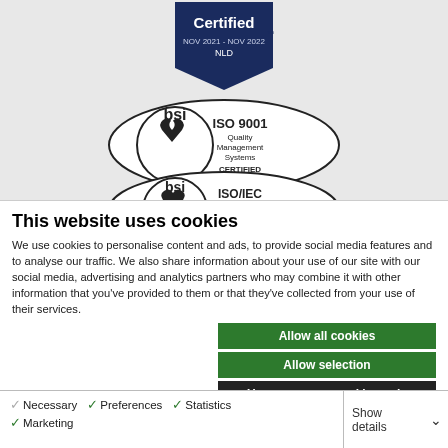[Figure (logo): Certified badge (NOV 2021 - NOV 2022 NLD) and BSI ISO 9001 Quality Management Systems Certified mark, and partial BSI ISO/IEC 27001 mark]
This website uses cookies
We use cookies to personalise content and ads, to provide social media features and to analyse our traffic. We also share information about your use of our site with our social media, advertising and analytics partners who may combine it with other information that you've provided to them or that they've collected from your use of their services.
Allow all cookies
Allow selection
Use necessary cookies only
Necessary  Preferences  Statistics  Marketing  Show details